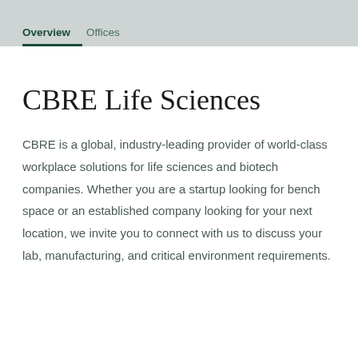Overview   Offices
CBRE Life Sciences
CBRE is a global, industry-leading provider of world-class workplace solutions for life sciences and biotech companies. Whether you are a startup looking for bench space or an established company looking for your next location, we invite you to connect with us to discuss your lab, manufacturing, and critical environment requirements.